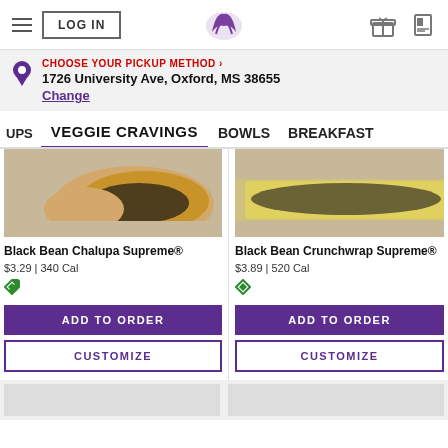LOG IN | Taco Bell Logo | (gift icon) (card icon)
CHOOSE YOUR PICKUP METHOD › 1726 University Ave, Oxford, MS 38655 Change
UPS   VEGGIE CRAVINGS   BOWLS   BREAKFAST
[Figure (photo): Close-up photo of Black Bean Chalupa Supreme menu item]
Black Bean Chalupa Supreme®
$3.29 | 340 Cal
ADD TO ORDER
CUSTOMIZE
[Figure (photo): Close-up photo of Black Bean Crunchwrap Supreme menu item]
Black Bean Crunchwrap Supreme®
$3.89 | 520 Cal
ADD TO ORDER
CUSTOMIZE